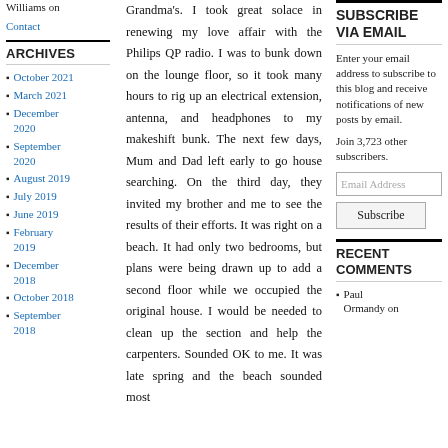Williams on
Contact
ARCHIVES
October 2021
March 2021
December 2020
September 2020
August 2019
July 2019
June 2019
February 2019
December 2018
October 2018
September 2018
Grandma's. I took great solace in renewing my love affair with the Philips QP radio. I was to bunk down on the lounge floor, so it took many hours to rig up an electrical extension, antenna, and headphones to my makeshift bunk. The next few days, Mum and Dad left early to go house searching. On the third day, they invited my brother and me to see the results of their efforts. It was right on a beach. It had only two bedrooms, but plans were being drawn up to add a second floor while we occupied the original house. I would be needed to clean up the section and help the carpenters. Sounded OK to me. It was late spring and the beach sounded most
SUBSCRIBE VIA EMAIL
Enter your email address to subscribe to this blog and receive notifications of new posts by email.
Join 3,723 other subscribers.
Email Address
Subscribe
RECENT COMMENTS
Paul Ormandy on